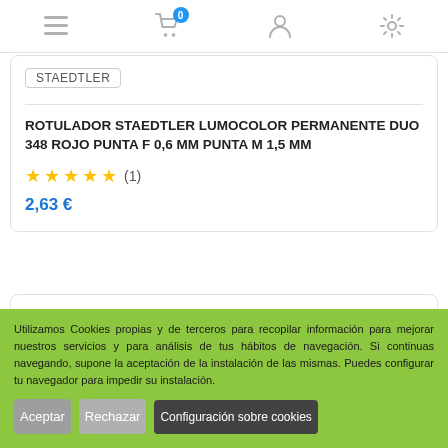Navigation bar with menu, cart (0), user, and settings icons
STAEDTLER
ROTULADOR STAEDTLER LUMOCOLOR PERMANENTE DUO 348 ROJO PUNTA F 0,6 MM PUNTA M 1,5 MM
★★★★★ (1)
2,63 €
[Figure (other): Second product card, partially visible]
Utilizamos Cookies propias y de terceros para recopilar información para mejorar nuestros servicios y para análisis de tus hábitos de navegación. Si continuas navegando, supone la aceptación de la instalación de las mismas. Puedes configurar tu navegador para impedir su instalación.
Aceptar | Rechazar | Configuración sobre cookies